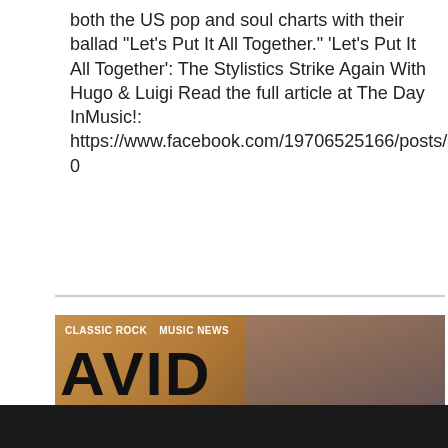both the US pop and soul charts with their ballad “Let’s Put It All Together.” ‘Let’s Put It All Together’: The Stylistics Strike Again With Hugo & Luigi Read the full article at The Day InMusic!: https://www.facebook.com/19706525166/posts/101664…
[Figure (screenshot): Thumbnail image for David Bowie – Let’s Dance (Official Video). Shows album artwork with large black text 'DAVID BOWIE LET'S DANCE' on golden/amber background, with a blurred person in background. Tags 'CLASSIC ROCK' and 'MUSIC NEWS' appear at top. White text overlay reads 'DAVID BOWIE – LET’S DANCE (OFFICIAL VIDEO)']